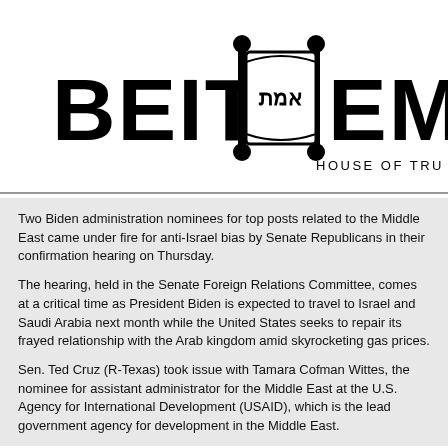[Figure (logo): Beit Emet - House of Truth logo with Torah scroll emblem and Hebrew text]
Two Biden administration nominees for top posts related to the Middle East came under fire for anti-Israel bias by Senate Republicans in their confirmation hearing on Thursday.
The hearing, held in the Senate Foreign Relations Committee, comes at a critical time as President Biden is expected to travel to Israel and Saudi Arabia next month while the United States seeks to repair its frayed relationship with the Arab kingdom amid skyrocketing gas prices.
Sen. Ted Cruz (R-Texas) took issue with Tamara Cofman Wittes, the nominee for assistant administrator for the Middle East at the U.S. Agency for International Development (USAID), which is the lead government agency for development in the Middle East.
Cruz said that rather than a confirmation hearing, the Democratic majority convened a hearing to showcase the anti-Israel bias of the Biden administration."
During questioning, Cruz pointed to Cofman Wittes's controversial past of being hostile to the Abraham Accords during the Trump administration, according to the Washington Free Beacon